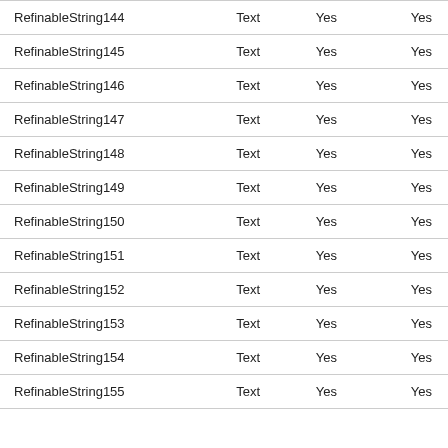| RefinableString144 | Text | Yes | Yes |
| RefinableString145 | Text | Yes | Yes |
| RefinableString146 | Text | Yes | Yes |
| RefinableString147 | Text | Yes | Yes |
| RefinableString148 | Text | Yes | Yes |
| RefinableString149 | Text | Yes | Yes |
| RefinableString150 | Text | Yes | Yes |
| RefinableString151 | Text | Yes | Yes |
| RefinableString152 | Text | Yes | Yes |
| RefinableString153 | Text | Yes | Yes |
| RefinableString154 | Text | Yes | Yes |
| RefinableString155 | Text | Yes | Yes |